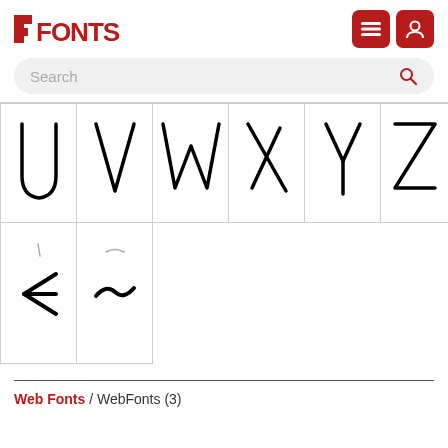FFONTS logo with navigation icons
Search
[Figure (illustration): Grid of runic/hand-drawn glyphs showing stylized letters U, V, W, X, Y, Z in top row and two symbols (arrow-left, tilde) in bottom row]
Web Fonts / WebFonts (3)